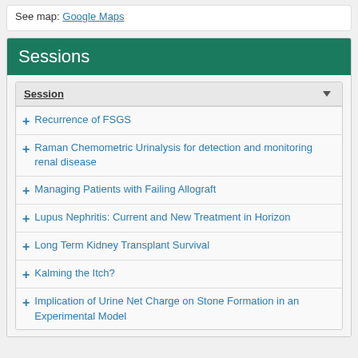See map: Google Maps
Sessions
Session
Recurrence of FSGS
Raman Chemometric Urinalysis for detection and monitoring renal disease
Managing Patients with Failing Allograft
Lupus Nephritis: Current and New Treatment in Horizon
Long Term Kidney Transplant Survival
Kalming the Itch?
Implication of Urine Net Charge on Stone Formation in an Experimental Model